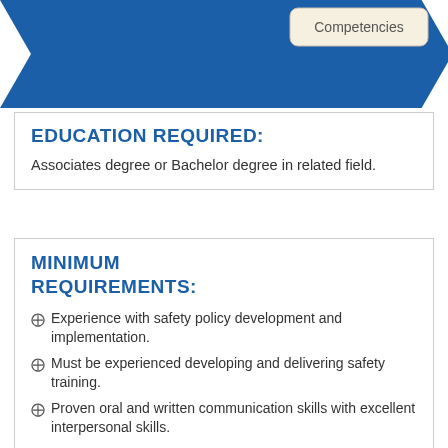[Figure (infographic): Dark blue chevron/arrow shape with a rounded rectangle label reading 'Competencies' in the top right area]
EDUCATION REQUIRED:
Associates degree or Bachelor degree in related field.
MINIMUM REQUIREMENTS:
Experience with safety policy development and implementation.
Must be experienced developing and delivering safety training.
Proven oral and written communication skills with excellent interpersonal skills.